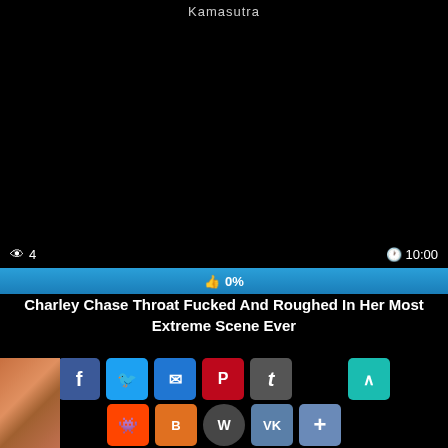Kamasutra
[Figure (screenshot): Black video player area with view count (eye icon, 4) on bottom left and duration (clock icon, 10:00) on bottom right]
[Figure (infographic): Blue progress bar showing 0% with thumbs up icon]
Charley Chase Throat Fucked And Roughed In Her Most Extreme Scene Ever
[Figure (infographic): Social share buttons row 1: Facebook, Twitter, Email, Pinterest, Tumblr, scroll-to-top arrow]
[Figure (infographic): Social share buttons row 2: Reddit, Blogger, WordPress, VK, More (+)]
[Figure (photo): Partial thumbnail image visible at bottom left]